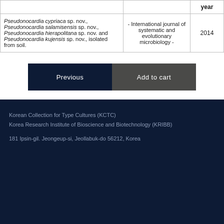|  |  | year |
| --- | --- | --- |
| Pseudonocardia cypriaca sp. nov., Pseudonocardia salamisensis sp. nov., Pseudonocardia hierapolitana sp. nov. and Pseudonocardia kujensis sp. nov., isolated from soil. | - International journal of systematic and evolutionary microbiology - | 2014 |
Previous
Add to cart
Korean Collection for Type Cultures (KCTC)
Korea Research Institute of Bioscience and Biotechnology (KRIBB)

181 Ipsin-gil. Jeongeup-si, Jeollabuk-do 56212, Korea